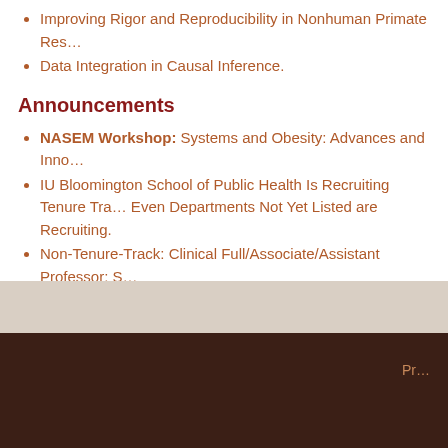Improving Rigor and Reproducibility in Nonhuman Primate Res…
Data Integration in Causal Inference.
Announcements
NASEM Workshop: Systems and Obesity: Advances and Inno…
IU Bloomington School of Public Health Is Recruiting Tenure Tra… Even Departments Not Yet Listed are Recruiting.
Non-Tenure-Track: Clinical Full/Associate/Assistant Professor; S…
Nutrition Science Tenure-Track/Tenure: Full/Associate/Assistan…
Postdoctoral Fellow Position in the Department of Environmenta… Bloomington.
The Center for Research on Race and Ethnicity in Society (CRR… CRRES Postdoctoral Fellowships.
Pr…